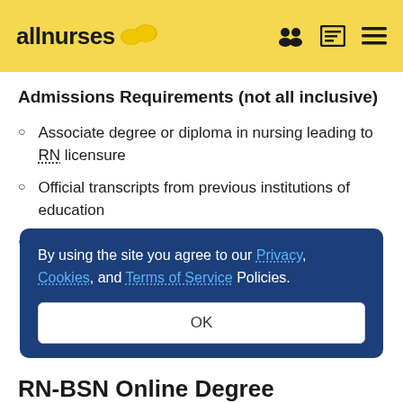allnurses
Admissions Requirements (not all inclusive)
Associate degree or diploma in nursing leading to RN licensure
Official transcripts from previous institutions of education
3.0 GPA from the most recent 60 academic credits
By using the site you agree to our Privacy, Cookies, and Terms of Service Policies.
OK
RN-BSN Online Degree